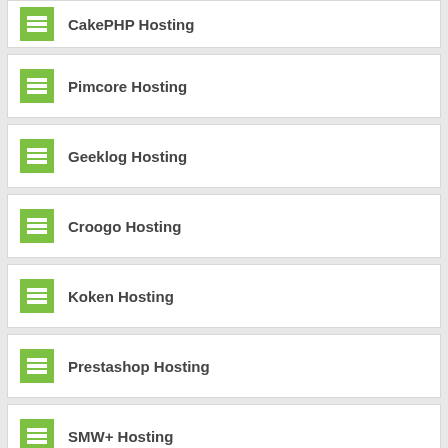CakePHP Hosting
Pimcore Hosting
Geeklog Hosting
Croogo Hosting
Koken Hosting
Prestashop Hosting
SMW+ Hosting